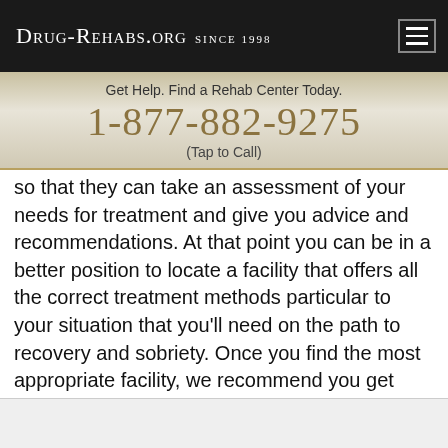Drug-Rehabs.org Since 1998
Get Help. Find a Rehab Center Today.
1-877-882-9275
(Tap to Call)
so that they can take an assessment of your needs for treatment and give you advice and recommendations. At that point you can be in a better position to locate a facility that offers all the correct treatment methods particular to your situation that you'll need on the path to recovery and sobriety. Once you find the most appropriate facility, we recommend you get started as soon as possible - because then it will be easier to overcome your addiction than if you delay.